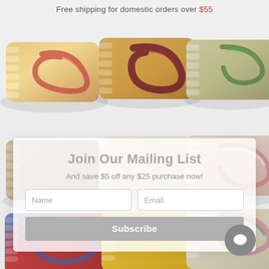Free shipping for domestic orders over $55
[Figure (photo): Grid of handmade soap bars in various colors and swirl patterns displayed on a light gray background. Top row: orange/red swirl soap, dark red/gold swirl soap, green/natural soap. Middle row: tan/beige textured soap, cream/beige plain soap, pink/white swirl soap. Bottom row: blue/red swirl soap, golden yellow soap, cream/pink/green swirl soap.]
Join Our Mailing List
And save $5 off any $25 purchase now!
Name
Email
Subscribe